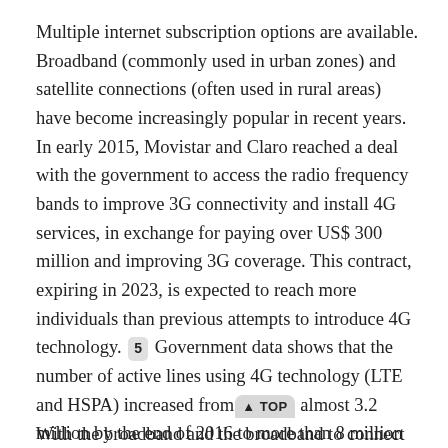Multiple internet subscription options are available. Broadband (commonly used in urban zones) and satellite connections (often used in rural areas) have become increasingly popular in recent years. In early 2015, Movistar and Claro reached a deal with the government to access the radio frequency bands to improve 3G connectivity and install 4G services, in exchange for paying over US$ 300 million and improving 3G coverage. This contract, expiring in 2023, is expected to reach more individuals than previous attempts to introduce 4G technology. [5] Government data shows that the number of active lines using 4G technology (LTE and HSPA) increased from almost 3.2 million by the end of 2016 to more than 8 million by July 2018. [6] América Móvil announced a new US$450 million investment for the next three years. [7]
With the broadband...